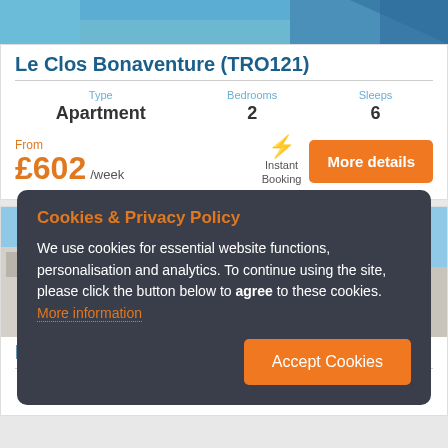[Figure (photo): Top portion of apartment/villa property photo, partially cropped]
Le Clos Bonaventure (TRO121)
Type: Apartment | Bedrooms: 2 | Sleeps: 6
From £602 /week
Instant Booking
More details
[Figure (photo): Second property listing photo showing pool area and buildings]
Le
Type: Villa | Bedrooms: 2 | Sleeps: 4
Cookies & Privacy Policy
We use cookies for essential website functions, personalisation and analytics. To continue using the site, please click the button below to agree to these cookies. More information
Accept Cookies